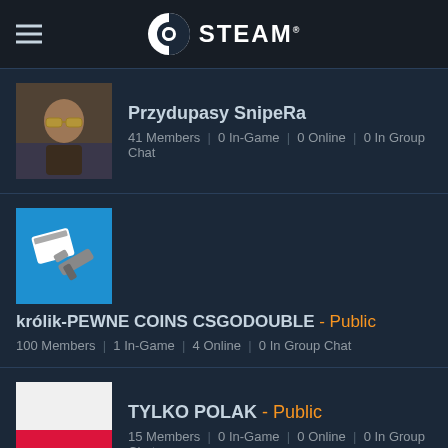STEAM
Przydupasy SnipeRa
41 Members | 0 In-Game | 0 Online | 0 In Group Chat
królik-PEWNE COINS CSGODOUBLE - Public
100 Members | 1 In-Game | 4 Online | 0 In Group Chat
TYLKO POLAK - Public
15 Members | 0 In-Game | 0 Online | 0 In Group Chat